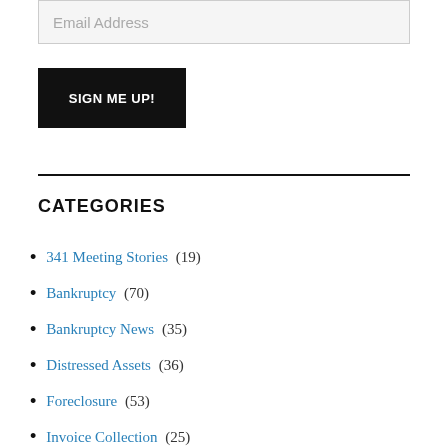Email Address
SIGN ME UP!
CATEGORIES
341 Meeting Stories (19)
Bankruptcy (70)
Bankruptcy News (35)
Distressed Assets (36)
Foreclosure (53)
Invoice Collection (25)
Judgment Collections (133)
Lawsuits and News (35)